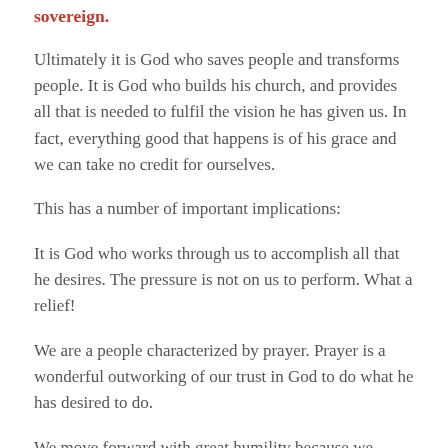sovereign.
Ultimately it is God who saves people and transforms people. It is God who builds his church, and provides all that is needed to fulfil the vision he has given us. In fact, everything good that happens is of his grace and we can take no credit for ourselves.
This has a number of important implications:
It is God who works through us to accomplish all that he desires. The pressure is not on us to perform. What a relief!
We are a people characterized by prayer. Prayer is a wonderful outworking of our trust in God to do what he has desired to do.
We move forward with great humility because we realize that we are completely dependent on God.